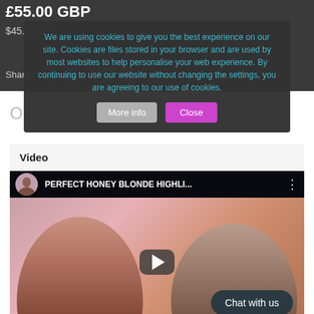£55.00 GBP
$45.83 ...
Shares:
We are using cookies to give you the best experience on our site. Cookies are files stored in your browser and are used by most websites to help personalise your web experience. By continuing to use our website without changing the settings, you are agreeing to our use of cookies.
More info
Close
Out of stock
Video
[Figure (screenshot): YouTube video embed showing two women with honey blonde highlighted hair. Video title: PERFECT HONEY BLONDE HIGHLI... Play button visible in center. Chat with us button in bottom right.]